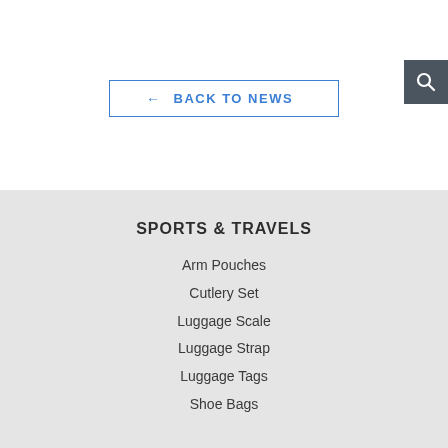← BACK TO NEWS
[Figure (other): Search icon button (magnifying glass) in dark gray square, positioned top-right]
SPORTS & TRAVELS
Arm Pouches
Cutlery Set
Luggage Scale
Luggage Strap
Luggage Tags
Shoe Bags